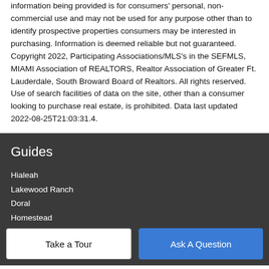information being provided is for consumers' personal, non-commercial use and may not be used for any purpose other than to identify prospective properties consumers may be interested in purchasing. Information is deemed reliable but not guaranteed. Copyright 2022, Participating Associations/MLS's in the SEFMLS, MIAMI Association of REALTORS, Realtor Association of Greater Ft. Lauderdale, South Broward Board of Realtors. All rights reserved. Use of search facilities of data on the site, other than a consumer looking to purchase real estate, is prohibited. Data last updated 2022-08-25T21:03:31.4.
Guides
Hialeah
Lakewood Ranch
Doral
Homestead
Miami Beach